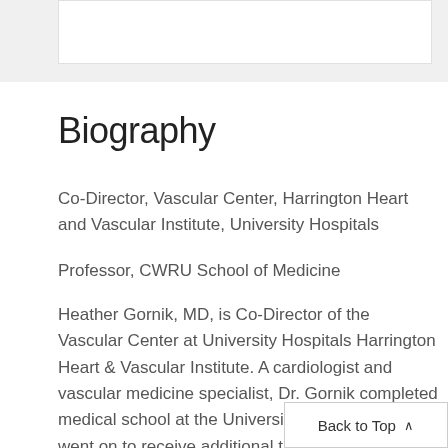Biography
Co-Director, Vascular Center, Harrington Heart and Vascular Institute, University Hospitals
Professor, CWRU School of Medicine
Heather Gornik, MD, is Co-Director of the Vascular Center at University Hospitals Harrington Heart & Vascular Institute. A cardiologist and vascular medicine specialist, Dr. Gornik completed medical school at the University of Chicago. She went on to receive additional training in internal medicine, cardiology, and vascular medicine at Brigham and Women's Hospital, Harvard Medical
Back to Top ^